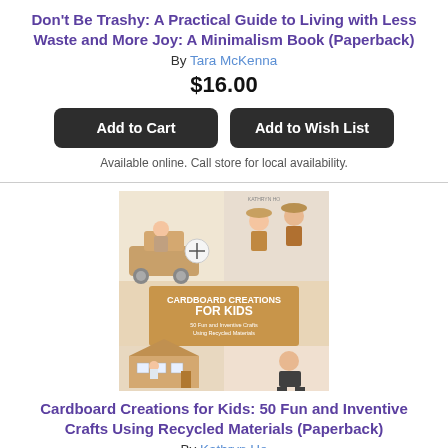Don't Be Trashy: A Practical Guide to Living with Less Waste and More Joy: A Minimalism Book (Paperback)
By Tara McKenna
$16.00
Available online. Call store for local availability.
[Figure (photo): Book cover of Cardboard Creations for Kids showing children playing with cardboard crafts including a cardboard house]
Cardboard Creations for Kids: 50 Fun and Inventive Crafts Using Recycled Materials (Paperback)
By Kathryn Ho
$22.99